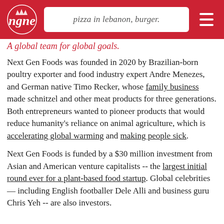pizza in lebanon, burger.
A global team for global goals.
Next Gen Foods was founded in 2020 by Brazilian-born poultry exporter and food industry expert Andre Menezes, and German native Timo Recker, whose family business made schnitzel and other meat products for three generations. Both entrepreneurs wanted to pioneer products that would reduce humanity's reliance on animal agriculture, which is accelerating global warming and making people sick.
Next Gen Foods is funded by a $30 million investment from Asian and American venture capitalists -- the largest initial round ever for a plant-based food startup. Global celebrities — including English footballer Dele Alli and business guru Chris Yeh -- are also investors.